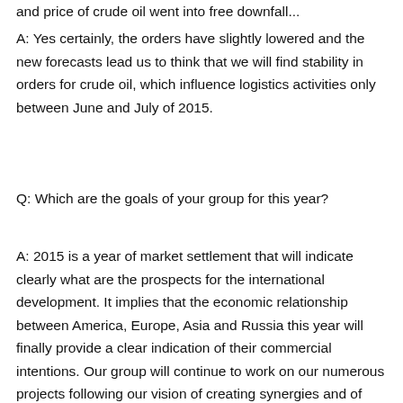and price of crude oil went into free downfall...
A: Yes certainly, the orders have slightly lowered and the new forecasts lead us to think that we will find stability in orders for crude oil, which influence logistics activities only between June and July of 2015.
Q: Which are the goals of your group for this year?
A: 2015 is a year of market settlement that will indicate clearly what are the prospects for the international development. It implies that the economic relationship between America, Europe, Asia and Russia this year will finally provide a clear indication of their commercial intentions. Our group will continue to work on our numerous projects following our vision of creating synergies and of